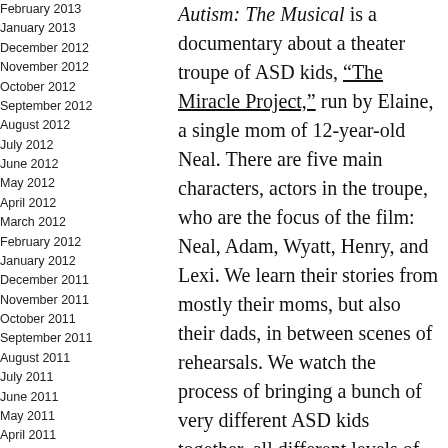February 2013
January 2013
December 2012
November 2012
October 2012
September 2012
August 2012
July 2012
June 2012
May 2012
April 2012
March 2012
February 2012
January 2012
December 2011
November 2011
October 2011
September 2011
August 2011
July 2011
June 2011
May 2011
April 2011
March 2011
February 2011
Autism: The Musical is a documentary about a theater troupe of ASD kids, “The Miracle Project,” run by Elaine, a single mom of 12-year-old Neal. There are five main characters, actors in the troupe, who are the focus of the film: Neal, Adam, Wyatt, Henry, and Lexi. We learn their stories from mostly their moms, but also their dads, in between scenes of rehearsals. We watch the process of bringing a bunch of very different ASD kids together, all different levels of ability and...